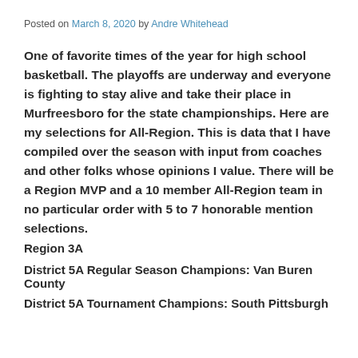Posted on March 8, 2020 by Andre Whitehead
One of favorite times of the year for high school basketball. The playoffs are underway and everyone is fighting to stay alive and take their place in Murfreesboro for the state championships. Here are my selections for All-Region. This is data that I have compiled over the season with input from coaches and other folks whose opinions I value. There will be a Region MVP and a 10 member All-Region team in no particular order with 5 to 7 honorable mention selections.
Region 3A
District 5A Regular Season Champions: Van Buren County
District 5A Tournament Champions: South Pittsburgh